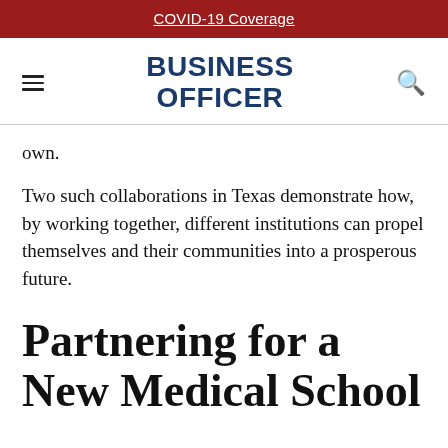COVID-19 Coverage
BUSINESS OFFICER
own.
Two such collaborations in Texas demonstrate how, by working together, different institutions can propel themselves and their communities into a prosperous future.
Partnering for a New Medical School